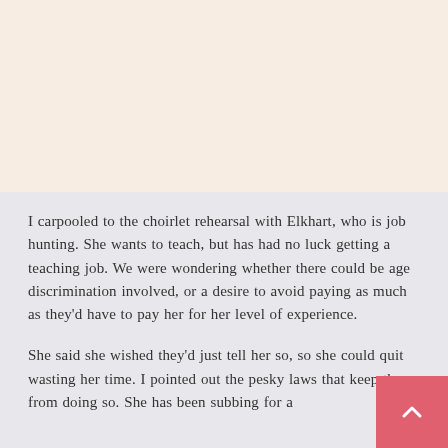[Figure (other): Top decorative panel with warm beige/peach background color]
I carpooled to the choirlet rehearsal with Elkhart, who is job hunting. She wants to teach, but has had no luck getting a teaching job. We were wondering whether there could be age discrimination involved, or a desire to avoid paying as much as they’d have to pay her for her level of experience.
She said she wished they’d just tell her so, so she could quit wasting her time. I pointed out the pesky laws that keep them from doing so. She has been subbing for a